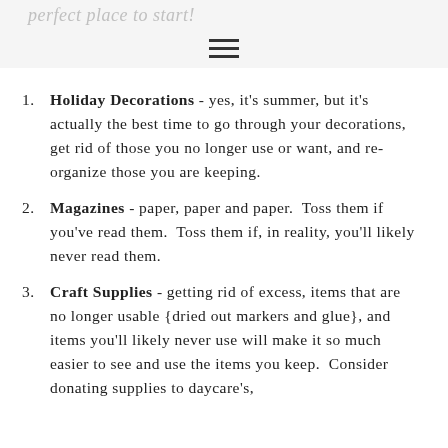perfect place to start!
Holiday Decorations - yes, it's summer, but it's actually the best time to go through your decorations, get rid of those you no longer use or want, and re-organize those you are keeping.
Magazines - paper, paper and paper.  Toss them if you've read them.  Toss them if, in reality, you'll likely never read them.
Craft Supplies - getting rid of excess, items that are no longer usable {dried out markers and glue}, and items you'll likely never use will make it so much easier to see and use the items you keep.  Consider donating supplies to daycare's,